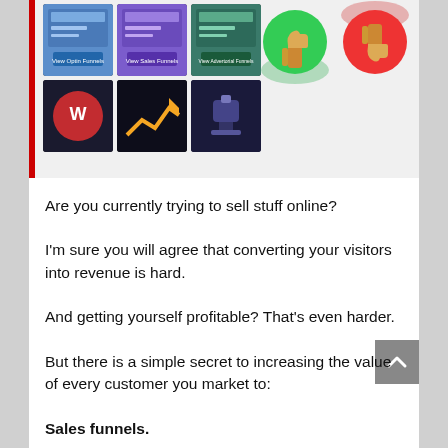[Figure (screenshot): Grid of 6 thumbnail images showing funnel/sales-related content (optin funnels, sales funnels, advertorial funnels icons) with red border on left and right sides, and two thumbs-up/thumbs-down illustration hands on the right side]
Are you currently trying to sell stuff online?
I'm sure you will agree that converting your visitors into revenue is hard.
And getting yourself profitable? That's even harder.
But there is a simple secret to increasing the value of every customer you market to:
Sales funnels.
By producing a well-designed sales funnel, it is possible to dramatically boost your sales and